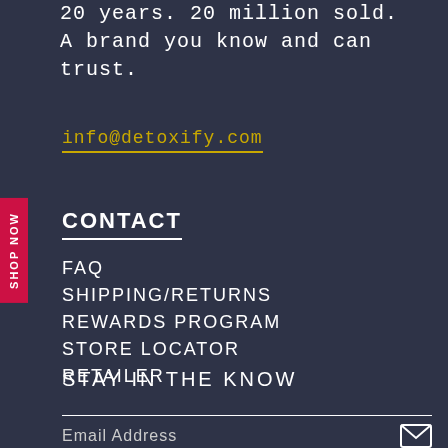20 years. 20 million sold.
A brand you know and can trust.
info@detoxify.com
CONTACT
FAQ
SHIPPING/RETURNS
REWARDS PROGRAM
STORE LOCATOR
RETAILER
STAY IN THE KNOW
Email Address